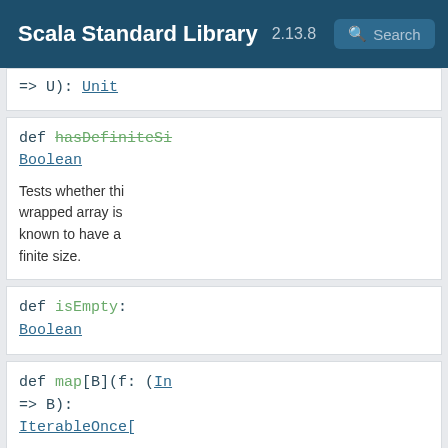Scala Standard Library 2.13.8 Search
=> U): Unit
def hasDefiniteSi Boolean
Tests whether this wrapped array is known to have a finite size.
def isEmpty: Boolean
def map[B](f: (In => B): IterableOnce[
def max(implicit math.Ordering Int
def maxBy[B](f: ( => B)(implici cmp: math.Ordering